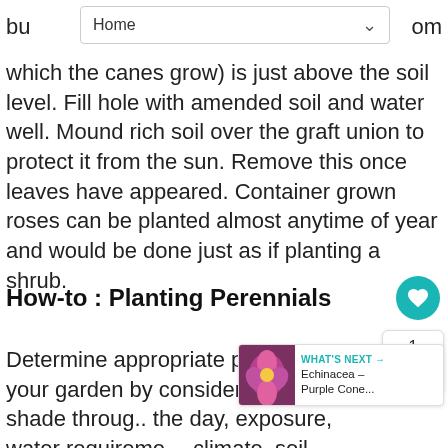Home
bu...om which the canes grow) is just above the soil level. Fill hole with amended soil and water well. Mound rich soil over the graft union to protect it from the sun. Remove this once leaves have appeared. Container grown roses can be planted almost anytime of year and would be done just as if planting a shrub.
How-to : Planting Perennials
Determine appropriate perennials for your garden by considering sun and shade throughout the day, exposure, water requirements, climate, soil makeup, seasonal color desired, and position of other garden plants and trees.